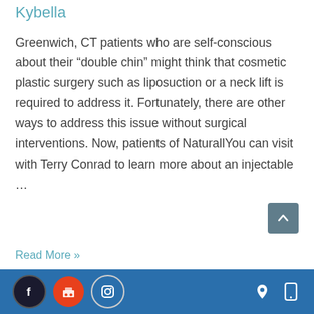Kybella
Greenwich, CT patients who are self-conscious about their “double chin” might think that cosmetic plastic surgery such as liposuction or a neck lift is required to address it. Fortunately, there are other ways to address this issue without surgical interventions. Now, patients of NaturallYou can visit with Terry Conrad to learn more about an injectable …
Read More »
Social media icons and navigation icons